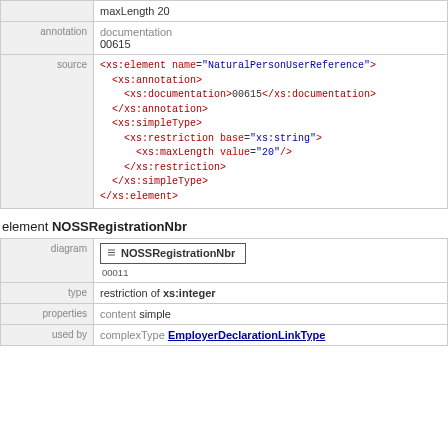|  |  |
| --- | --- |
|  | maxLength 20 |
| annotation | documentation
00615 |
| source | <xs:element name="NaturalPersonUserReference">
  <xs:annotation>
    <xs:documentation>00615</xs:documentation>
  </xs:annotation>
  <xs:simpleType>
    <xs:restriction base="xs:string">
      <xs:maxLength value="20"/>
    </xs:restriction>
  </xs:simpleType>
</xs:element> |
element NOSSRegistrationNbr
|  |  |
| --- | --- |
| diagram | NOSSRegistrationNbr
00011 |
| type | restriction of xs:integer |
| properties | content simple |
| used by | complexType EmployerDeclarationLinkType |